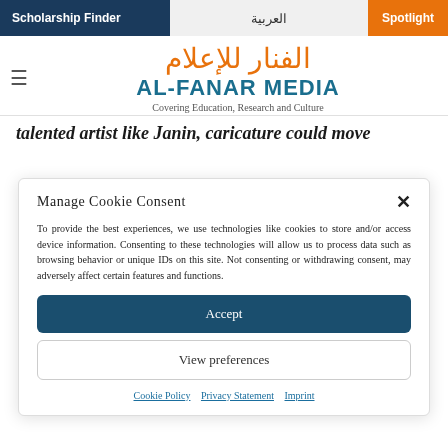Scholarship Finder | العربية | Spotlight
AL-FANAR MEDIA — Covering Education, Research and Culture
talented artist like Janin, caricature could move
Manage Cookie Consent
To provide the best experiences, we use technologies like cookies to store and/or access device information. Consenting to these technologies will allow us to process data such as browsing behavior or unique IDs on this site. Not consenting or withdrawing consent, may adversely affect certain features and functions.
Accept
View preferences
Cookie Policy | Privacy Statement | Imprint